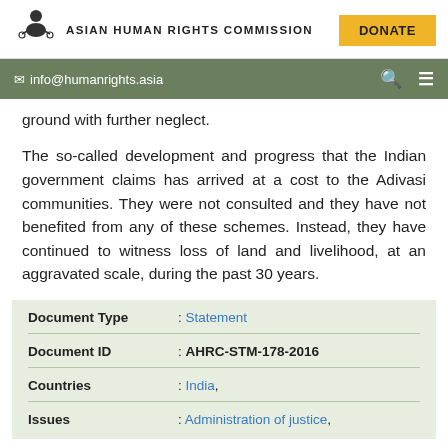ASIAN HUMAN RIGHTS COMMISSION | DONATE
info@humanrights.asia
ground with further neglect.
The so-called development and progress that the Indian government claims has arrived at a cost to the Adivasi communities. They were not consulted and they have not benefited from any of these schemes. Instead, they have continued to witness loss of land and livelihood, at an aggravated scale, during the past 30 years.
| Field | Value |
| --- | --- |
| Document Type | : Statement |
| Document ID | : AHRC-STM-178-2016 |
| Countries | : India, |
| Issues | : Administration of justice, |